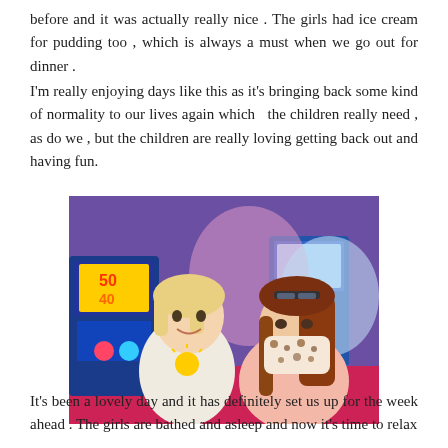before and it was actually really nice . The girls had ice cream for pudding too , which is always a must when we go out for dinner .
I'm really enjoying days like this as it's bringing back some kind of normality to our lives again which  the children really need , as do we , but the children are really loving getting back out and having fun.
[Figure (photo): A young girl and a woman wearing a leopard-print face mask taking a selfie in an arcade/amusement center. The background shows arcade games with colorful lights.]
It's been a lovely day and it has definitely set us up for the week ahead . The girls are bathed and asleep and now it's time to relax